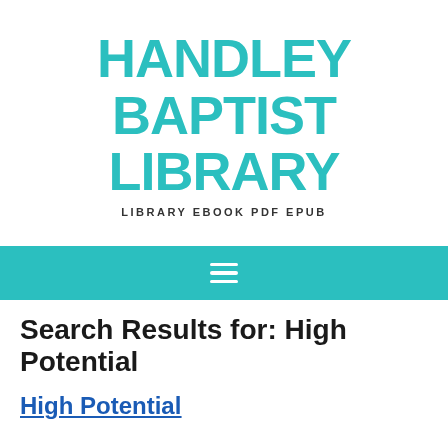HANDLEY BAPTIST LIBRARY
LIBRARY EBOOK PDF EPUB
[Figure (other): Teal navigation bar with hamburger menu icon (three horizontal white lines)]
Search Results for: High Potential
High Potential